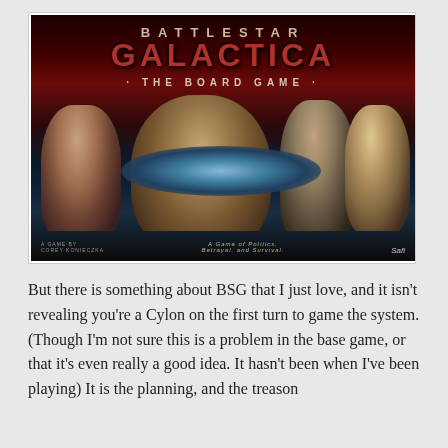[Figure (photo): Battlestar Galactica: The Board Game box cover art. Shows four characters (a woman with dark hair on the left, an older man with glasses in the center, a younger man to the right, and a blonde woman far right) against a dark red and space background. A large battlestar spaceship is visible in the lower center. Text reads 'BATTLESTAR GALACTICA - THE BOARD GAME'. Bottom text: 'A Game by Corey Konieczka', 'A Game of Politics, Betrayal, and Survival.' and a Safi logo.]
But there is something about BSG that I just love, and it isn't revealing you're a Cylon on the first turn to game the system. (Though I'm not sure this is a problem in the base game, or that it's even really a good idea. It hasn't been when I've been playing) It is the planning, and the treason